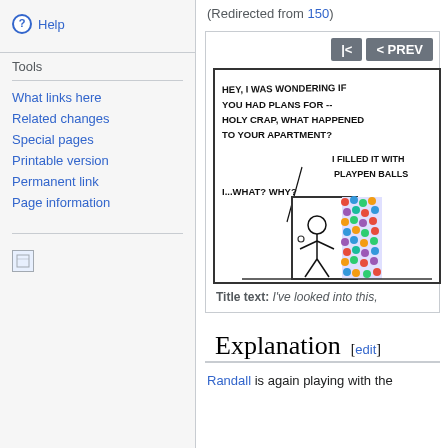Help
Tools
What links here
Related changes
Special pages
Printable version
Permanent link
Page information
(Redirected from 150)
[Figure (illustration): xkcd comic strip showing a stick figure at a door. Speech bubbles read: 'HEY, I WAS WONDERING IF YOU HAD PLANS FOR -- HOLY CRAP, WHAT HAPPENED TO YOUR APARTMENT?' and 'I FILLED IT WITH PLAYPEN BALLS' and 'I...WHAT? WHY?' The apartment is filled with colorful balls visible through the door.]
Title text: I've looked into this,
Explanation [edit]
Randall is again playing with the